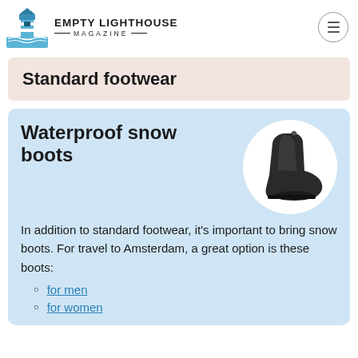EMPTY LIGHTHOUSE MAGAZINE
Standard footwear
Waterproof snow boots
[Figure (photo): A black waterproof snow boot shown from the side against a white circular background]
In addition to standard footwear, it's important to bring snow boots. For travel to Amsterdam, a great option is these boots:
for men
for women